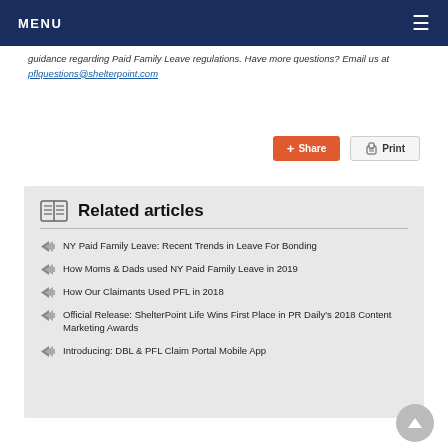MENU
guidance regarding Paid Family Leave regulations. Have more questions? Email us at pflquestions@shelterpoint.com
Share  Print
Related articles
NY Paid Family Leave: Recent Trends in Leave For Bonding
How Moms & Dads used NY Paid Family Leave in 2019
How Our Claimants Used PFL in 2018
Official Release: ShelterPoint Life Wins First Place in PR Daily's 2018 Content Marketing Awards
Introducing: DBL & PFL Claim Portal Mobile App